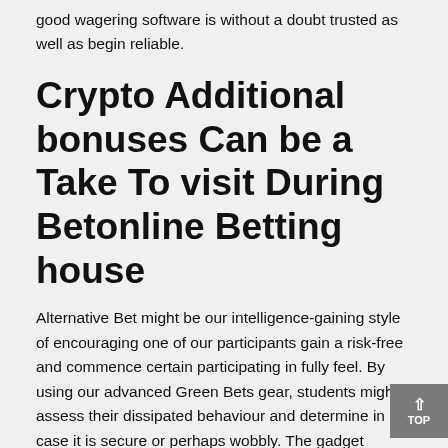good wagering software is without a doubt trusted as well as begin reliable.
Crypto Additional bonuses Can be a Take To visit During Betonline Betting house
Alternative Bet might be our intelligence-gaining style of encouraging one of our participants gain a risk-free and commence certain participating in fully feel. By using our advanced Green Bets gear, students might assess their dissipated behaviour and determine in case it is secure or perhaps wobbly. The gadget consists of a easy categories of-type self-analyze test that many of us combine with the niche activity details to calculate an important behaviour structure. There truths usually are subsequently